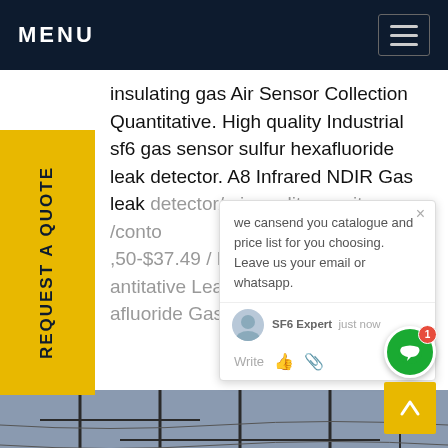MENU
insulating gas Air Sensor Collection Quantitative. High quality Industrial sf6 gas sensor sulfur hexafluoride leak detector. A8 Infrared NDIR Gas leak detector/ air quality monitor /cont... $50-$37.49 / Piece 0.01ppmv NDI... IS antitative Leakage Detector GDV... afluoride Gas Leak Detector. US $... ...rice
REQUEST A QUOTE
we cansend you catalogue and price list for you choosing. Leave us your email or whatsapp.
SF6 Expert   just now
Write
[Figure (photo): Electrical substation with high voltage equipment, insulators, and transmission line towers against a grey sky]